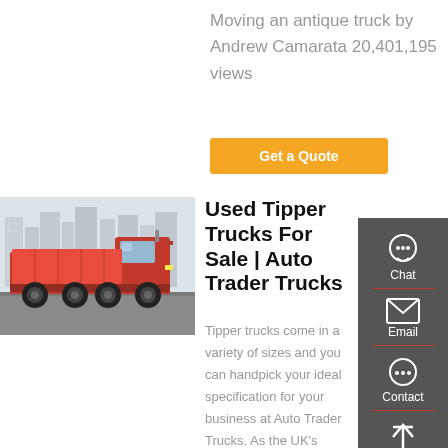Moving an antique truck by Andrew Camarata 20,401,195 views
[Figure (illustration): Orange 'Get a Quote' button]
[Figure (photo): Red tipper/dump truck parked on a road with city buildings in background]
Used Tipper Trucks For Sale | Auto Trader Trucks
Tipper trucks come in a variety of sizes and you can handpick your ideal specification for your business at Auto Trader Trucks. As the UK's leading truck trading hub you can browse our current
[Figure (infographic): Sidebar with Chat, Email, Contact, and Top navigation icons on dark grey background]